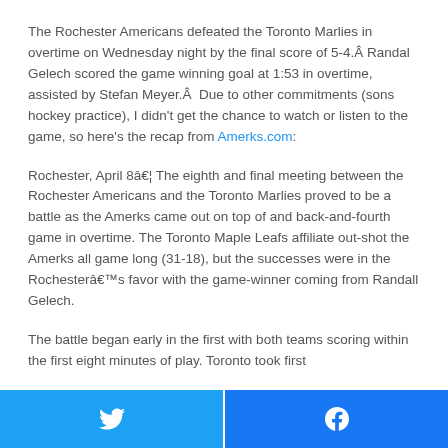The Rochester Americans defeated the Toronto Marlies in overtime on Wednesday night by the final score of 5-4.Â Randal Gelech scored the game winning goal at 1:53 in overtime, assisted by Stefan Meyer.Â  Due to other commitments (sons hockey practice), I didn't get the chance to watch or listen to the game, so here's the recap from Amerks.com:
Rochester, April 8â€¦ The eighth and final meeting between the Rochester Americans and the Toronto Marlies proved to be a battle as the Amerks came out on top of and back-and-fourth game in overtime. The Toronto Maple Leafs affiliate out-shot the Amerks all game long (31-18), but the successes were in the Rochesterâ€™s favor with the game-winner coming from Randall Gelech.
The battle began early in the first with both teams scoring within the first eight minutes of play. Toronto took first
Twitter share button | Facebook share button